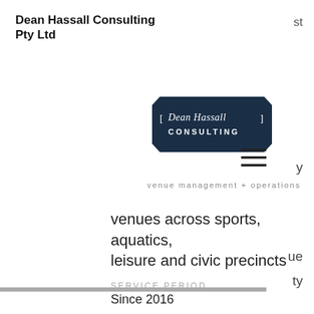Dean Hassall Consulting Pty Ltd
[Figure (logo): Dean Hassall Consulting logo badge - dark navy octagonal badge with white text 'Dean Hassall CONSULTING' with bracket decorations]
venue management + operations
venues across sports, aquatics, leisure and civic precincts
SERVICE PERIOD
Since 2016
DHC KEY CONSULTANT PERSONNEL
Dean Hassall and Carolynne Hassall
PROJECT OVERVIEW (CONTEXT)